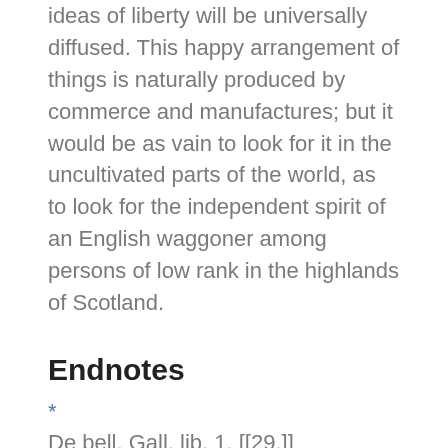ideas of liberty will be universally diffused. This happy arrangement of things is naturally produced by commerce and manufactures; but it would be as vain to look for it in the uncultivated parts of the world, as to look for the independent spirit of an English waggoner among persons of low rank in the highlands of Scotland.
Endnotes
*
De bell. Gall. lib. 1. [[29.]]
1.
This paragraph and the one preceding it are